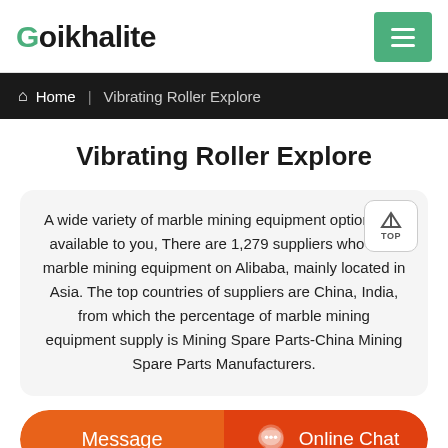Goikhalite
Home | Vibrating Roller Explore
Vibrating Roller Explore
A wide variety of marble mining equipment options are available to you, There are 1,279 suppliers who sells marble mining equipment on Alibaba, mainly located in Asia. The top countries of suppliers are China, India, from which the percentage of marble mining equipment supply is Mining Spare Parts-China Mining Spare Parts Manufacturers.
Message
Online Chat